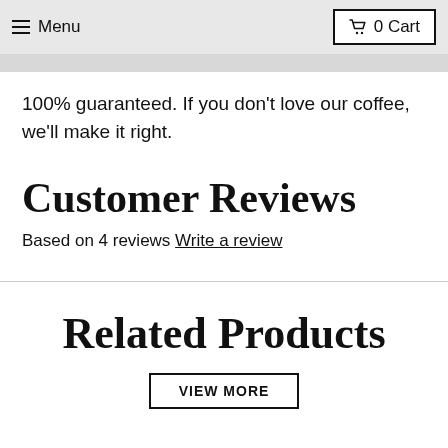Menu  0 Cart
100% guaranteed. If you don't love our coffee, we'll make it right.
Customer Reviews
Based on 4 reviews Write a review
Related Products
VIEW MORE